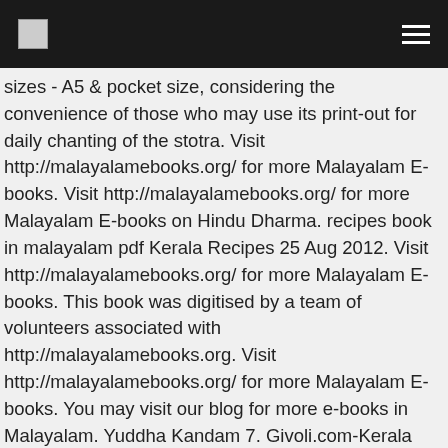[logo] [menu]
sizes - A5 & pocket size, considering the convenience of those who may use its print-out for daily chanting of the stotra. Visit http://malayalamebooks.org/ for more Malayalam E-books. Visit http://malayalamebooks.org/ for more Malayalam E-books on Hindu Dharma. recipes book in malayalam pdf Kerala Recipes 25 Aug 2012. Visit http://malayalamebooks.org/ for more Malayalam E-books. This book was digitised by a team of volunteers associated with http://malayalamebooks.org. Visit http://malayalamebooks.org/ for more Malayalam E-books. You may visit our blog for more e-books in Malayalam. Yuddha Kandam 7. Givoli.com-Kerala Recipes,Pachakam,Samayal,Tamil Cooking,Karnataka. Alchemist Book Pdf In Marathi. The site features a range of